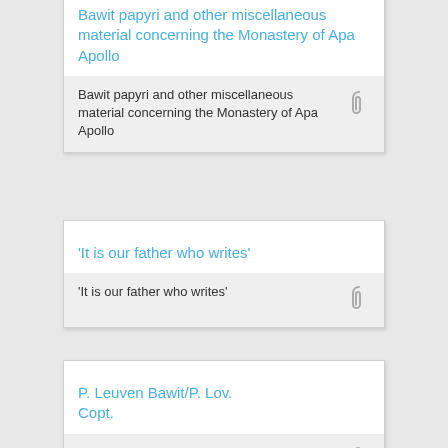Bawit papyri and other miscellaneous material concerning the Monastery of Apa Apollo
Bawit papyri and other miscellaneous material concerning the Monastery of Apa Apollo
'It is our father who writes'
'It is our father who writes'
P. Leuven Bawit/P. Lov. Copt.
P. Leuven Bawit/P. Lov. Copt.